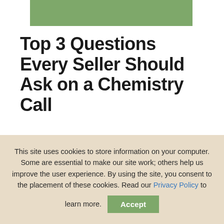[Figure (other): Green rectangular banner/header bar at the top of the page]
Top 3 Questions Every Seller Should Ask on a Chemistry Call
This site uses cookies to store information on your computer. Some are essential to make our site work; others help us improve the user experience. By using the site, you consent to the placement of these cookies. Read our Privacy Policy to learn more.